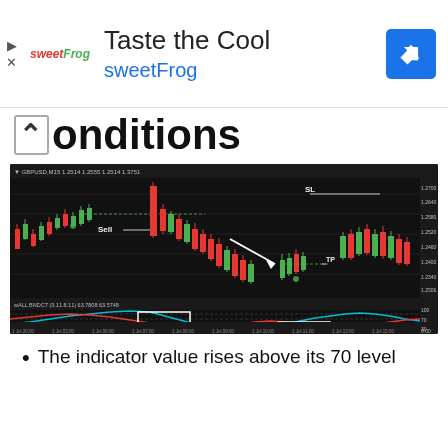[Figure (other): sweetFrog advertisement banner with logo, 'Taste the Cool' title, 'sweetFrog' subtitle in blue, and blue navigation icon]
Conditions
[Figure (screenshot): Forex candlestick chart on black background showing GBPUSD pair with SL (Stop Loss) and Sell entry labels on candlestick chart, TP (Take Profit) label, white arrow pointing down-right, and oscillator indicator panel below with blue and red lines, two white rectangle annotations, price levels on right axis, time axis at bottom]
The indicator value rises above its 70 level